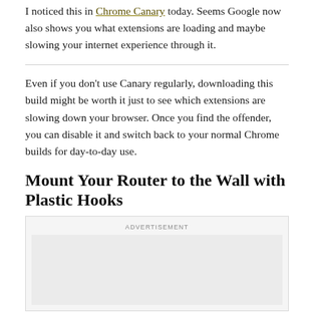I noticed this in Chrome Canary today. Seems Google now also shows you what extensions are loading and maybe slowing your internet experience through it.
Even if you don’t use Canary regularly, downloading this build might be worth it just to see which extensions are slowing down your browser. Once you find the offender, you can disable it and switch back to your normal Chrome builds for day-to-day use.
Mount Your Router to the Wall with Plastic Hooks
[Figure (other): Advertisement placeholder box with 'ADVERTISEMENT' label and grey background area]